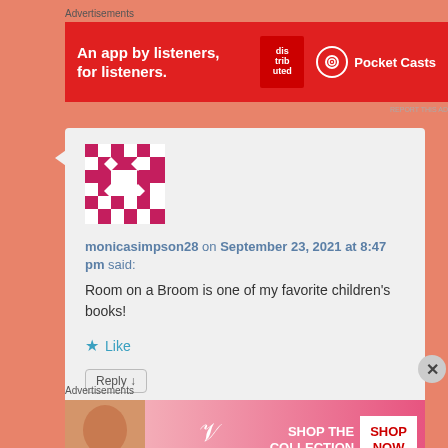Advertisements
[Figure (screenshot): Pocket Casts advertisement banner: red background with text 'An app by listeners, for listeners.' and Pocket Casts logo on the right]
[Figure (screenshot): User avatar: colorful geometric pixel art pattern in pink/crimson and white]
monicasimpson28 on September 23, 2021 at 8:47 pm said:
Room on a Broom is one of my favorite children's books!
Like
Reply 1
Advertisements
[Figure (screenshot): Victoria's Secret advertisement banner: pink gradient background with model, VS logo, 'SHOP THE COLLECTION' text and 'SHOP NOW' button]